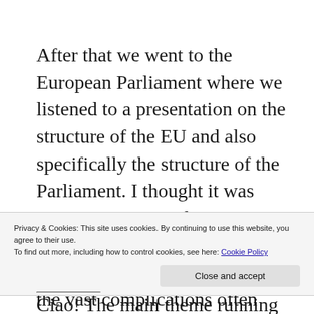After that we went to the European Parliament where we listened to a presentation on the structure of the EU and also specifically the structure of the Parliament. I thought it was very interesting to learn more about the political coalitions in the Parliament and also about the vast complications often surrounding the job of interpreting, with it
Privacy & Cookies: This site uses cookies. By continuing to use this website, you agree to their use.
To find out more, including how to control cookies, see here: Cookie Policy
Close and accept
Ciao! The main theme running through today